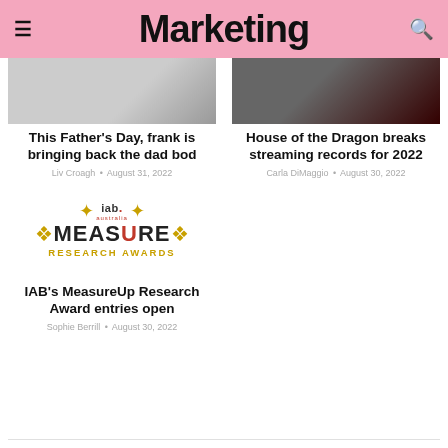Marketing
[Figure (photo): Grayscale photo related to Father's Day / dad bod article]
This Father's Day, frank is bringing back the dad bod
Liv Croagh • August 31, 2022
[Figure (photo): Dark dramatic photo related to House of the Dragon article]
House of the Dragon breaks streaming records for 2022
Carla DiMaggio • August 30, 2022
[Figure (logo): IAB Australia MeasureUp Research Awards logo with laurels]
IAB's MeasureUp Research Award entries open
Sophie Berrill • August 30, 2022